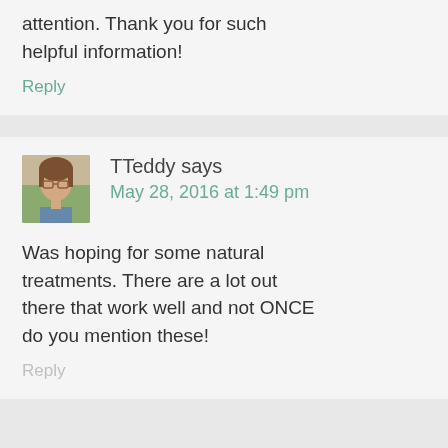attention. Thank you for such helpful information!
Reply
TTeddy says
May 28, 2016 at 1:49 pm
Was hoping for some natural treatments. There are a lot out there that work well and not ONCE do you mention these!
Reply